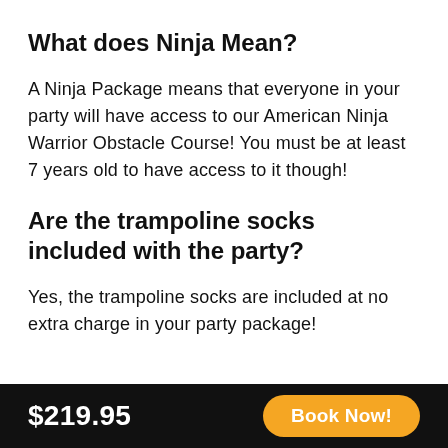What does Ninja Mean?
A Ninja Package means that everyone in your party will have access to our American Ninja Warrior Obstacle Course! You must be at least 7 years old to have access to it though!
Are the trampoline socks included with the party?
Yes, the trampoline socks are included at no extra charge in your party package!
$219.95   Book Now!